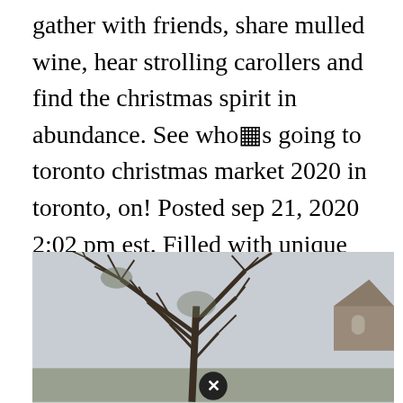gather with friends, share mulled wine, hear strolling carollers and find the christmas spirit in abundance. See who�s going to toronto christmas market 2020 in toronto, on! Posted sep 21, 2020 2:02 pm est. Filled with unique pieces from london�s talent, this virtual event will. Gage park, 45 main st s, brampton.
[Figure (photo): A bare winter tree with leafless branches against a pale grey sky, with a stone building or church visible in the top right corner. A close/dismiss button (X in a circle) is overlaid near the bottom center of the image.]